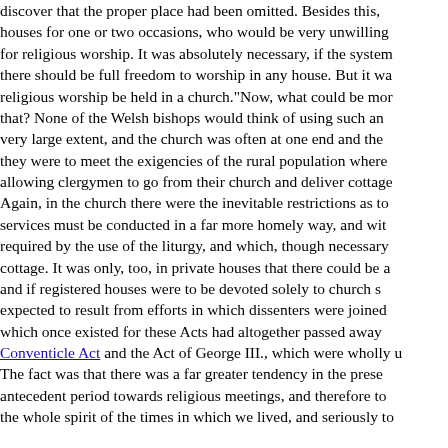discover that the proper place had been omitted. Besides this, houses for one or two occasions, who would be very unwilling for religious worship. It was absolutely necessary, if the system there should be full freedom to worship in any house. But it wa religious worship be held in a church."Now, what could be mor that? None of the Welsh bishops would think of using such an very large extent, and the church was often at one end and the they were to meet the exigencies of the rural population where allowing clergymen to go from their church and deliver cottage Again, in the church there were the inevitable restrictions as to services must be conducted in a far more homely way, and wit required by the use of the liturgy, and which, though necessary cottage. It was only, too, in private houses that there could be a and if registered houses were to be devoted solely to church s expected to result from efforts in which dissenters were joined which once existed for these Acts had altogether passed away Conventicle Act and the Act of George III., which were wholly u The fact was that there was a far greater tendency in the prese antecedent period towards religious meetings, and therefore to the whole spirit of the times in which we lived, and seriously to